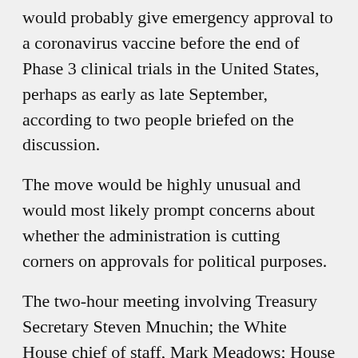would probably give emergency approval to a coronavirus vaccine before the end of Phase 3 clinical trials in the United States, perhaps as early as late September, according to two people briefed on the discussion.
The move would be highly unusual and would most likely prompt concerns about whether the administration is cutting corners on approvals for political purposes.
The two-hour meeting involving Treasury Secretary Steven Mnuchin; the White House chief of staff, Mark Meadows; House Speaker Nancy Pelosi; and Senator Chuck Schumer, the Democratic leader, took place on the evening of July 30 in Ms. Pelosi's conference room.
[partial paragraph continues below]